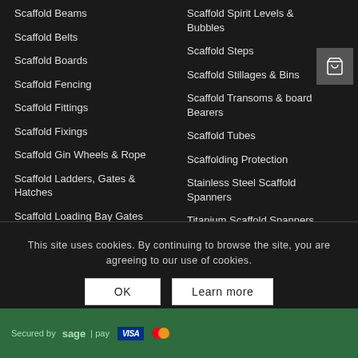Scaffold Beams
Scaffold Belts
Scaffold Boards
Scaffold Fencing
Scaffold Fittings
Scaffold Fixings
Scaffold Gin Wheels & Rope
Scaffold Ladders, Gates & Hatches
Scaffold Loading Bay Gates
Scaffold Spirit Levels & Bubbles
Scaffold Steps
Scaffold Stillages & Bins
Scaffold Transoms & board Bearers
Scaffold Tubes
Scaffolding Protection
Stainless Steel Scaffold Spanners
Titanium Scaffold Spanners
This site uses cookies. By continuing to browse the site, you are agreeing to our use of cookies.
Secured by [payment logos]